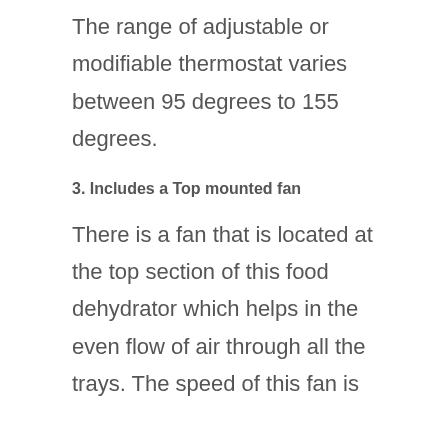The range of adjustable or modifiable thermostat varies between 95 degrees to 155 degrees.
3. Includes a Top mounted fan
There is a fan that is located at the top section of this food dehydrator which helps in the even flow of air through all the trays. The speed of this fan is